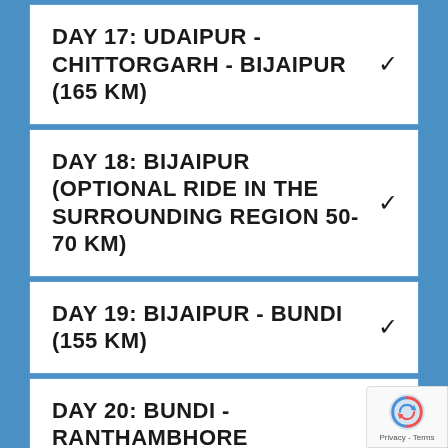DAY 17: UDAIPUR - CHITTORGARH - BIJAIPUR (165 KM)
DAY 18: BIJAIPUR (OPTIONAL RIDE IN THE SURROUNDING REGION 50-70 KM)
DAY 19: BIJAIPUR - BUNDI (155 KM)
DAY 20: BUNDI - RANTHAMBHORE NATIONAL PARK (125 KM)
DAY 21: RANTHAMBHORE - BHARATPUR (100 KM)